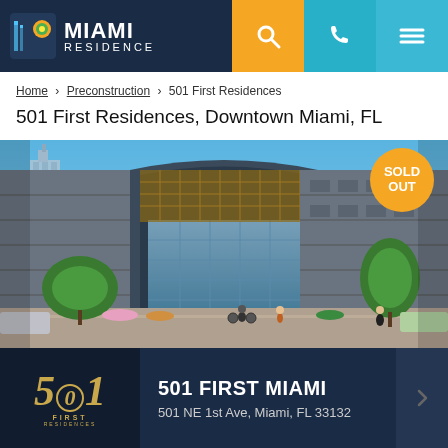MIAMI RESIDENCE
Home > Preconstruction > 501 First Residences
501 First Residences, Downtown Miami, FL
[Figure (photo): Architectural rendering of 501 First Residences building exterior in Downtown Miami, showing a modern glass and concrete high-rise with street-level retail, trees, pedestrians, and bicyclists. An orange 'SOLD OUT' badge is visible in the top right corner.]
501 FIRST MIAMI
501 NE 1st Ave, Miami, FL 33132